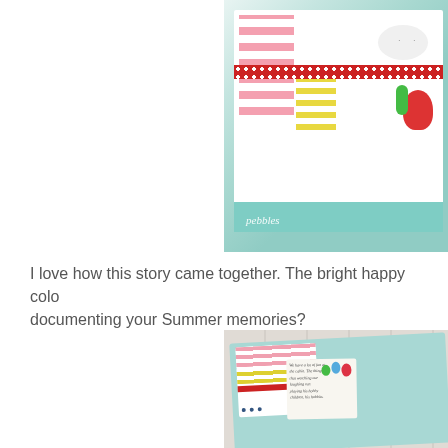[Figure (photo): Close-up photo of a colorful scrapbook card with pink stripes, red dotted ribbon, yellow stripes, cloud shape with eyes, red and green cutout shapes, teal background strip with 'pebbles' watermark text, on a light teal background.]
I love how this story came together. The bright happy colo… documenting your Summer memories?
[Figure (photo): Close-up photo of a mini scrapbook album on white wood surface, showing colorful pages with pink and yellow stripes, red ribbon, handwritten journaling card, balloons sticker, and hole punches along the side.]